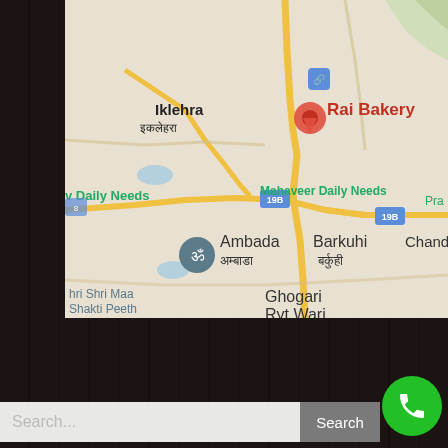[Figure (map): Google Maps screenshot showing area around Rai Bakery near Iklehra (इकलेहरा), with road 19B visible, and landmarks including Ambada (अम्बाडा), Barkuhi (बर्कुही), Chanda, Mahaveer Daily Needs, Shri Shri Maa Shakti Peeth, Ghogari Ryt.Wari. A red location pin marks Rai Bakery.]
Search...
Search